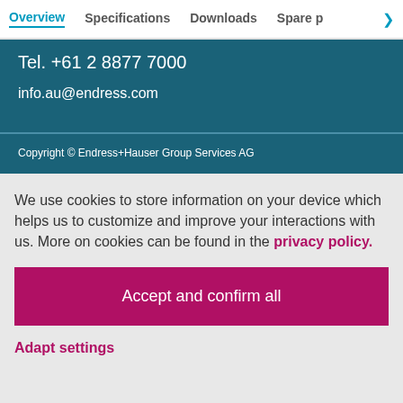Overview | Specifications | Downloads | Spare p >
Tel. +61 2 8877 7000
info.au@endress.com
Copyright © Endress+Hauser Group Services AG
We use cookies to store information on your device which helps us to customize and improve your interactions with us. More on cookies can be found in the privacy policy.
Accept and confirm all
Adapt settings